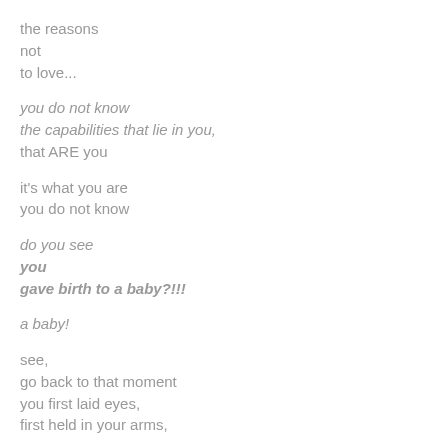the reasons
not
to love...
you do not know
the capabilities that lie in you,
that ARE you
it's what you are
you do not know
do you see
you
gave birth to a baby?!!!
a baby!
see,
go back to that moment
you first laid eyes,
first held in your arms,